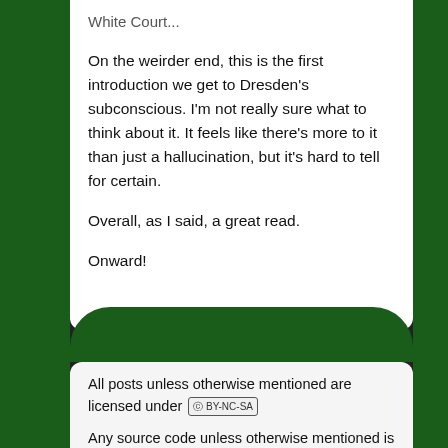White Court...
On the weirder end, this is the first introduction we get to Dresden's subconscious. I'm not really sure what to think about it. It feels like there's more to it than just a hallucination, but it's hard to tell for certain.
Overall, as I said, a great read.
Onward!
All posts unless otherwise mentioned are licensed under (cc) BY-NC-SA
Any source code unless otherwise mentioned is licensed under the 3 clause BSD license